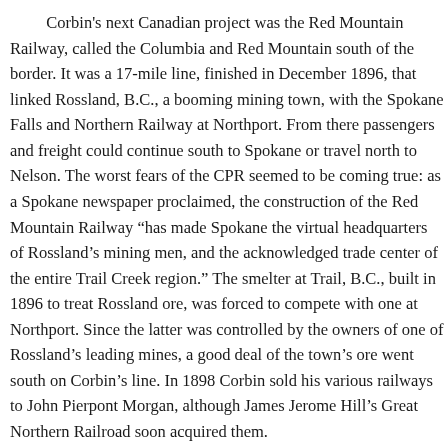Corbin's next Canadian project was the Red Mountain Railway, called the Columbia and Red Mountain south of the border. It was a 17-mile line, finished in December 1896, that linked Rossland, B.C., a booming mining town, with the Spokane Falls and Northern Railway at Northport. From there passengers and freight could continue south to Spokane or travel north to Nelson. The worst fears of the CPR seemed to be coming true: as a Spokane newspaper proclaimed, the construction of the Red Mountain Railway “has made Spokane the virtual headquarters of Rossland’s mining men, and the acknowledged trade center of the entire Trail Creek region.” The smelter at Trail, B.C., built in 1896 to treat Rossland ore, was forced to compete with one at Northport. Since the latter was controlled by the owners of one of Rossland’s leading mines, a good deal of the town’s ore went south on Corbin’s line. In 1898 Corbin sold his various railways to John Pierpont Morgan, although James Jerome Hill’s Great Northern Railroad soon acquired them.